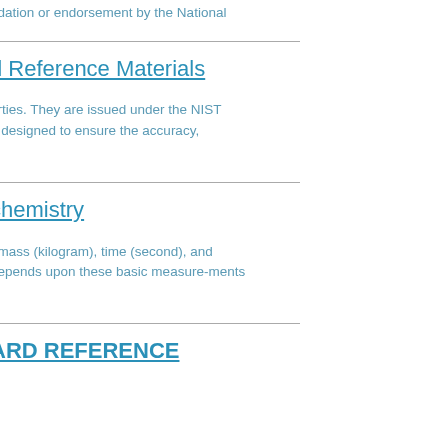ndation or endorsement by the National
d Reference Materials
erties. They are issued under the NIST designed to ensure the accuracy,
chemistry
, mass (kilogram), time (second), and depends upon these basic measure-ments
ARD REFERENCE